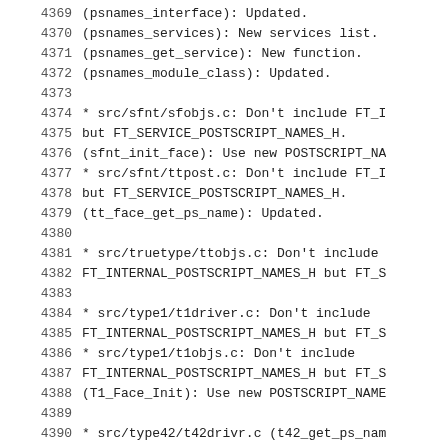4369    (psnames_interface): Updated.
4370    (psnames_services): New services list.
4371    (psnames_get_service): New function.
4372    (psnames_module_class): Updated.
4373
4374    * src/sfnt/sfobjs.c: Don't include FT_I
4375    but FT_SERVICE_POSTSCRIPT_NAMES_H.
4376    (sfnt_init_face): Use new POSTSCRIPT_NA
4377    * src/sfnt/ttpost.c: Don't include FT_I
4378    but FT_SERVICE_POSTSCRIPT_NAMES_H.
4379    (tt_face_get_ps_name): Updated.
4380
4381    * src/truetype/ttobjs.c: Don't include
4382    FT_INTERNAL_POSTSCRIPT_NAMES_H but FT_S
4383
4384    * src/type1/t1driver.c: Don't include
4385    FT_INTERNAL_POSTSCRIPT_NAMES_H but FT_S
4386    * src/type1/t1objs.c: Don't include
4387    FT_INTERNAL_POSTSCRIPT_NAMES_H but FT_S
4388    (T1_Face_Init): Use new POSTSCRIPT_NAME
4389
4390    * src/type42/t42drivr.c (t42_get_ps_nam